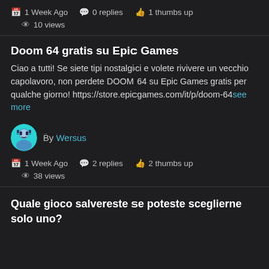1 Week Ago  0 replies  1 thumbs up
10 views
Doom 64 gratis su Epic Games
Ciao a tutti! Se siete tipi nostalgici e volete rivivere un vecchio capolavoro, non perdete DOOM 64 su Epic Games gratis per qualche giorno! https://store.epicgames.com/it/p/doom-64see more
By Wersus
1 Week Ago  2 replies  2 thumbs up
38 views
Quale gioco salvereste se poteste sceglierne solo uno?